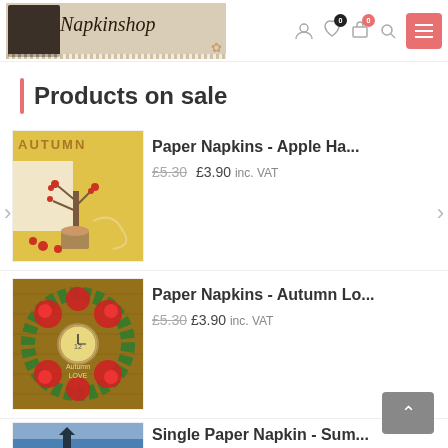[Figure (screenshot): Napkinshop website header with logo, navigation icons including user, wishlist, cart with badge 0, search, and hamburger menu button in pink/salmon color]
Products on sale
[Figure (photo): Autumn themed paper napkin product image with text AUTUMN and illustrated tree with berries on golden background]
Paper Napkins - Apple Ha...
£5.30 £3.90 inc. VAT
[Figure (photo): Autumn Love paper napkin with red roses and clock on brown wooden background]
Paper Napkins - Autumn Lo...
£5.30 £3.90 inc. VAT
[Figure (photo): Partial view of a blue-themed Single Paper Napkin product image]
Single Paper Napkin - Sum...